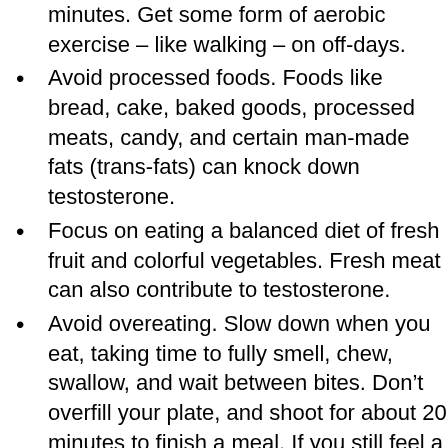minutes. Get some form of aerobic exercise – like walking – on off-days.
Avoid processed foods. Foods like bread, cake, baked goods, processed meats, candy, and certain man-made fats (trans-fats) can knock down testosterone.
Focus on eating a balanced diet of fresh fruit and colorful vegetables. Fresh meat can also contribute to testosterone.
Avoid overeating. Slow down when you eat, taking time to fully smell, chew, swallow, and wait between bites. Don't overfill your plate, and shoot for about 20 minutes to finish a meal. If you still feel a little hungry, wait another 10 minutes before having more.
Reach a healthy weight. Eat cells can